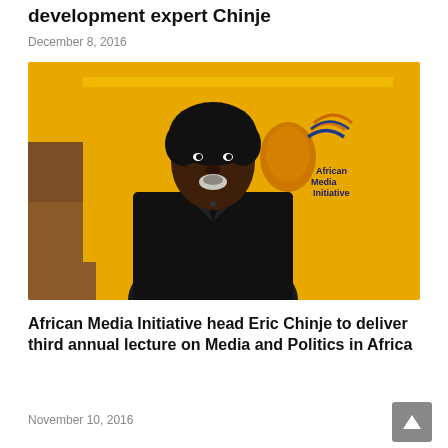development expert Chinje
December 8, 2016
[Figure (photo): Portrait photograph of Eric Chinje, African Media Initiative head, standing in front of a yellow AMI banner/backdrop with the African Media Initiative logo visible. He is wearing a dark suit.]
African Media Initiative head Eric Chinje to deliver third annual lecture on Media and Politics in Africa
November 10, 2016